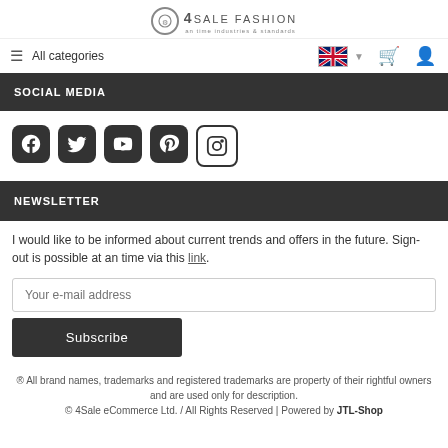4SALE FASHION
≡ All categories
SOCIAL MEDIA
[Figure (illustration): Social media icons: Facebook, Twitter, YouTube, Pinterest, Instagram]
NEWSLETTER
I would like to be informed about current trends and offers in the future. Sign-out is possible at an time via this link.
Your e-mail address
Subscribe
® All brand names, trademarks and registered trademarks are property of their rightful owners and are used only for description.
© 4Sale eCommerce Ltd. / All Rights Reserved | Powered by JTL-Shop